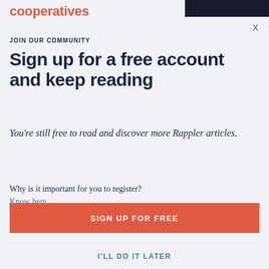cooperatives
X
JOIN OUR COMMUNITY
Sign up for a free account and keep reading
You're still free to read and discover more Rappler articles.
Why is it important for you to register?
Know here.
SIGN UP FOR FREE
I'LL DO IT LATER